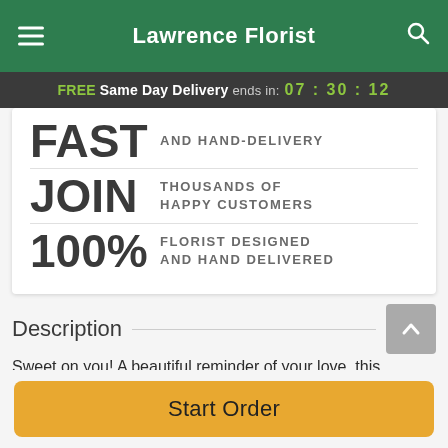Lawrence Florist
FREE Same Day Delivery ends in: 07:30:12
FAST AND HAND-DELIVERY
JOIN THOUSANDS OF HAPPY CUSTOMERS
100% FLORIST DESIGNED AND HAND DELIVERED
Description
Sweet on you! A beautiful reminder of your love, this bouquet says it all. Spoil them on their special day with a
Start Order